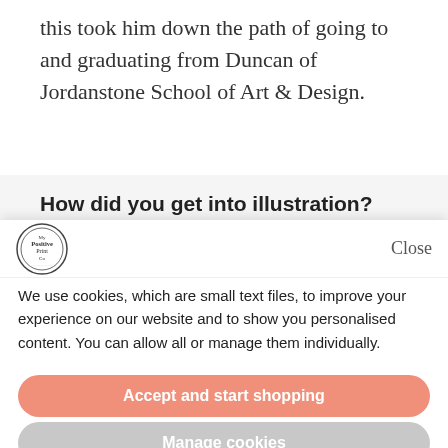this took him down the path of going to and graduating from Duncan of Jordanstone School of Art & Design.
How did you get into illustration?
Not really sure, drawing is something
[Figure (logo): My Positive Print Co logo — circular hand-lettered script badge]
Close
We use cookies, which are small text files, to improve your experience on our website and to show you personalised content. You can allow all or manage them individually.
Accept and start shopping
Manage cookies